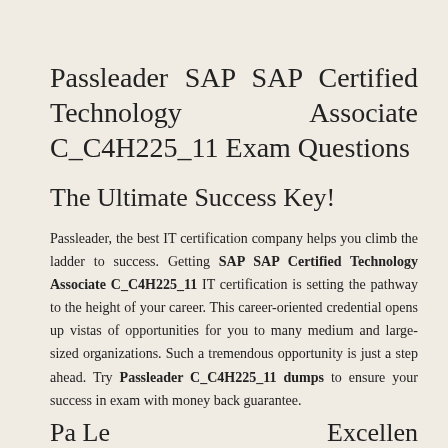Passleader SAP SAP Certified Technology Associate C_C4H225_11 Exam Questions
The Ultimate Success Key!
Passleader, the best IT certification company helps you climb the ladder to success. Getting SAP SAP Certified Technology Associate C_C4H225_11 IT certification is setting the pathway to the height of your career. This career-oriented credential opens up vistas of opportunities for you to many medium and large-sized organizations. Such a tremendous opportunity is just a step ahead. Try Passleader C_C4H225_11 dumps to ensure your success in exam with money back guarantee.